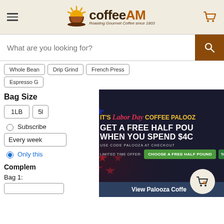coffeeAM — Roasting Gourmet Coffee since 1803
What are you looking for?
Whole Bean
Drip Grind
French Press
Espresso G
Bag Size
1LB
5L
Subscribe
Every week
Only this
Complem
Bag 1:
[Figure (infographic): Labor Day Coffee Palooza promotion banner: IT'S Labor Day COFFEE PALOOZ — GET A FREE HALF POUND WHEN YOU SPEND $40 — USE CODE PALOOZA AT CHECKOUT — LIMITED TIME OFFER: CHOOSE A FREE HALF POUND button]
View Palooza Coffe